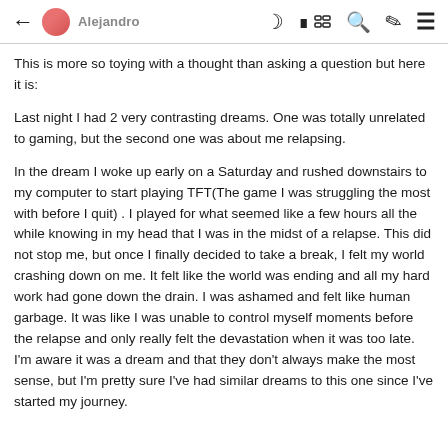← Alejandro  ☾ ▦ 🔍 🖌 ≡
This is more so toying with a thought than asking a question but here it is:
Last night I had 2 very contrasting dreams. One was totally unrelated to gaming, but the second one was about me relapsing.
In the dream I woke up early on a Saturday and rushed downstairs to my computer to start playing TFT(The game I was struggling the most with before I quit) . I played for what seemed like a few hours all the while knowing in my head that I was in the midst of a relapse. This did not stop me, but once I finally decided to take a break, I felt my world crashing down on me. It felt like the world was ending and all my hard work had gone down the drain. I was ashamed and felt like human garbage. It was like I was unable to control myself moments before the relapse and only really felt the devastation when it was too late. I'm aware it was a dream and that they don't always make the most sense, but I'm pretty sure I've had similar dreams to this one since I've started my journey.